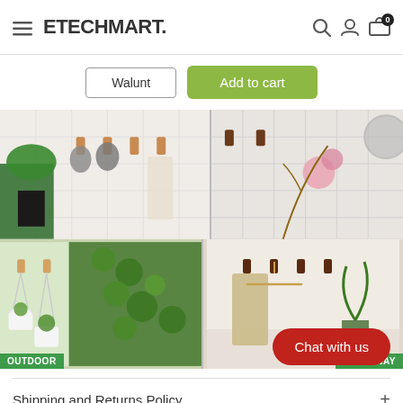ETECHMART.
Walunt
Add to cart
[Figure (photo): Product lifestyle images showing wall hooks used in bathroom (top-left: plant and hooks with mugs, top-right: bathroom tile with hooks), bottom-left labeled OUTDOOR showing hooks with hanging plants, bottom-right labeled ENTRYWAY showing hooks with coat hanger and pillows]
Chat with us
Shipping and Returns Policy